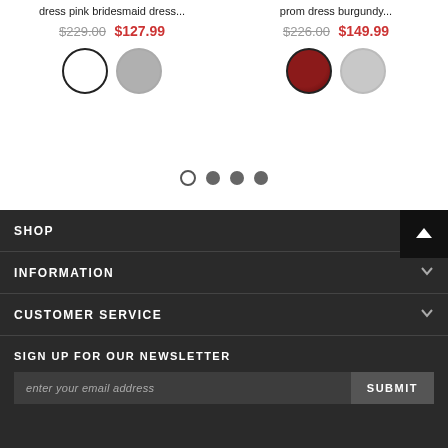dress pink bridesmaid dress...
$229.00  $127.99
[Figure (other): Color swatches for pink bridesmaid dress: white circle swatch (selected/outlined), gray circle swatch]
prom dress burgundy...
$226.00  $149.99
[Figure (other): Color swatches for prom dress burgundy: burgundy circle swatch (selected/outlined), light gray circle swatch]
[Figure (other): Pagination dots: open circle, filled gray dot, filled gray dot, filled gray dot]
SHOP
INFORMATION
CUSTOMER SERVICE
SIGN UP FOR OUR NEWSLETTER
enter your email address
SUBMIT